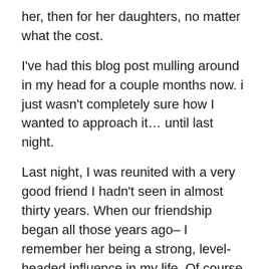her, then for her daughters, no matter what the cost.
I've had this blog post mulling around in my head for a couple months now. i just wasn't completely sure how I wanted to approach it… until last night.
Last night, I was reunited with a very good friend I hadn't seen in almost thirty years. When our friendship began all those years ago– I remember her being a strong, level-headed influence in my life. Of course we reminisced about the old days, last night but more importantly, we started to get caught up on our lives since. Tara is indeed, still the strong, intelligent woman I remembered (and missed) from so many years ago.
I've been blessed to know many strong women over the years– which brings me back to our production of Gypsy